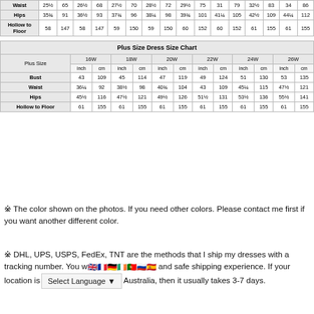|  | 25½ | 65 | 26½ | 68 | 27½ | 70 | 28½ | 72 | 29½ | 75 | 31 | 79 | 32½ | 83 | 34 | 86 |
| --- | --- | --- | --- | --- | --- | --- | --- | --- | --- | --- | --- | --- | --- | --- | --- | --- |
| Waist | 25½ | 65 | 26½ | 68 | 27½ | 70 | 28½ | 72 | 29½ | 75 | 31 | 79 | 32½ | 83 | 34 | 86 |
| Hips | 35¾ | 91 | 36½ | 93 | 37¾ | 96 | 38¼ | 98 | 39¾ | 101 | 41¼ | 105 | 42½ | 109 | 44¼ | 112 |
| Hollow to Floor | 58 | 147 | 58 | 147 | 59 | 150 | 59 | 150 | 60 | 152 | 60 | 152 | 61 | 155 | 61 | 155 |
| Plus Size | 16W inch | 16W cm | 18W inch | 18W cm | 20W inch | 20W cm | 22W inch | 22W cm | 24W inch | 24W cm | 26W inch | 26W cm |
| --- | --- | --- | --- | --- | --- | --- | --- | --- | --- | --- | --- | --- |
| Bust | 43 | 109 | 45 | 114 | 47 | 119 | 49 | 124 | 51 | 130 | 53 | 135 |
| Waist | 36¼ | 92 | 38½ | 98 | 40¾ | 104 | 43 | 109 | 45¼ | 115 | 47½ | 121 |
| Hips | 45½ | 116 | 47½ | 121 | 49½ | 126 | 51½ | 131 | 53½ | 136 | 55½ | 141 |
| Hollow to Floor | 61 | 155 | 61 | 155 | 61 | 155 | 61 | 155 | 61 | 155 | 61 | 155 |
※ The color shown on the photos. If you need other colors. Please contact me first if you want another different color.
※ DHL, UPS, USPS, FedEx, TNT are the methods that I ship my dresses with a tracking number. You will [flags] and safe shipping experience. If your location is [Select Language] Australia, then it usually takes 3-7 days.